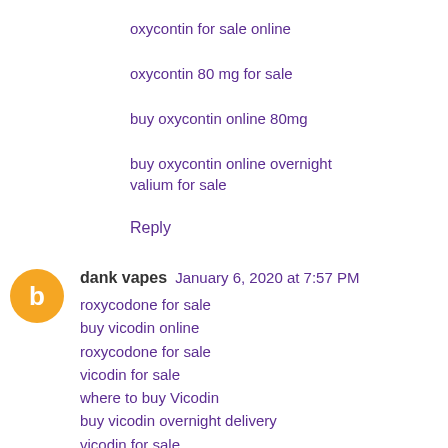oxycontin for sale online
oxycontin 80 mg for sale
buy oxycontin online 80mg
buy oxycontin online overnight
valium for sale
Reply
dank vapes  January 6, 2020 at 7:57 PM
roxycodone for sale
buy vicodin online
roxycodone for sale
vicodin for sale
where to buy Vicodin
buy vicodin overnight delivery
vicodin for sale
where to buy Vicodin
buy vicodin overnight delivery